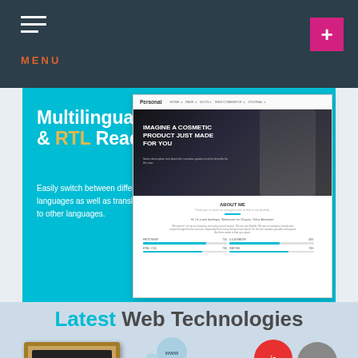MENU
Multilingual & RTL Ready
Easily switch between different languages as well as translate your site to other languages.
[Figure (screenshot): Website screenshots showing a Personal theme with cosmetic product hero image and About Me section with skill bars]
Latest Web Technologies
[Figure (illustration): Illustration showing a cork board with website screenshots, colorful bubbles labeled www, HTML5, js, {/}, and YAML representing web technologies]